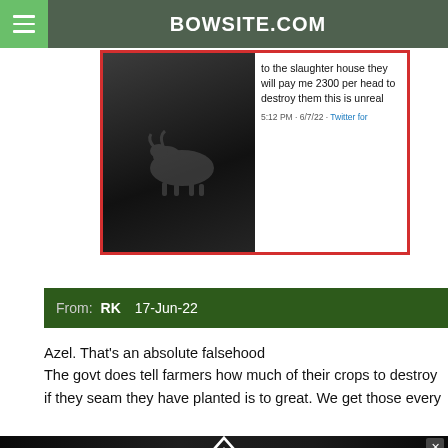BOWSITE.COM
[Figure (screenshot): Screenshot of a tweet with cattle image. Text reads: 'to the slaughter house they will pay me 2300 per head to destroy them this is unreal'. Timestamp: 5:12 PM · 6/7/22 · Twitter for]
From:  RK  17-Jun-22
Azel. That's an absolute falsehood
The govt does tell farmers how much of their crops to destroy
if they seam they have planted is to great. We get those every
[Figure (advertisement): Rooftop Arms advertisement banner. Range Ready | Ultra Premium | Custom | Hand Assembled Guns. Click to enter our $1000 raffle now. USA MADE - VETERAN OWNED.]